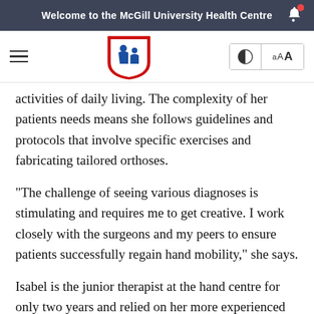Welcome to the McGill University Health Centre
[Figure (logo): McGill University Health Centre shield logo with stylized figures]
activities of daily living. The complexity of her patients needs means she follows guidelines and protocols that involve specific exercises and fabricating tailored orthoses.
“The challenge of seeing various diagnoses is stimulating and requires me to get creative. I work closely with the surgeons and my peers to ensure patients successfully regain hand mobility,” she says.
Isabel is the junior therapist at the hand centre for only two years and relied on her more experienced